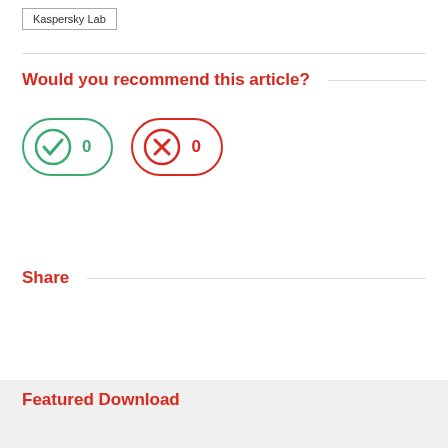Kaspersky Lab
Would you recommend this article?
[Figure (infographic): Two voting buttons: a green checkmark button with count 0 and a red X button with count 0]
Share
Featured Download